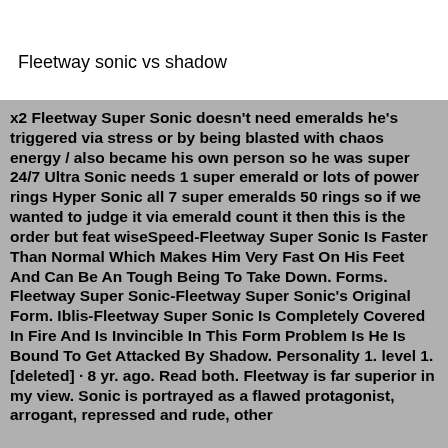Fleetway sonic vs shadow
x2 Fleetway Super Sonic doesn't need emeralds he's triggered via stress or by being blasted with chaos energy / also became his own person so he was super 24/7 Ultra Sonic needs 1 super emerald or lots of power rings Hyper Sonic all 7 super emeralds 50 rings so if we wanted to judge it via emerald count it then this is the order but feat wiseSpeed-Fleetway Super Sonic Is Faster Than Normal Which Makes Him Very Fast On His Feet And Can Be An Tough Being To Take Down. Forms. Fleetway Super Sonic-Fleetway Super Sonic's Original Form. Iblis-Fleetway Super Sonic Is Completely Covered In Fire And Is Invincible In This Form Problem Is He Is Bound To Get Attacked By Shadow. Personality 1. level 1. [deleted] · 8 yr. ago. Read both. Fleetway is far superior in my view. Sonic is portrayed as a flawed protagonist, arrogant, repressed and rude, other